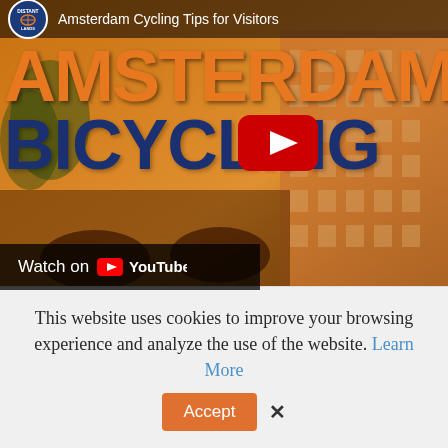[Figure (screenshot): YouTube video thumbnail for 'Amsterdam Cycling Tips for Visitors' by Distant Lands, showing text AMSTERDAM BICYCLING in large orange and dark blue bold letters over a warm-toned photo of bicycles parked in Amsterdam. A red YouTube play button is visible. A 'Watch on YouTube' bar appears at the bottom left.]
This website uses cookies to improve your browsing experience and analyze the use of the website. Learn More
Accept   X